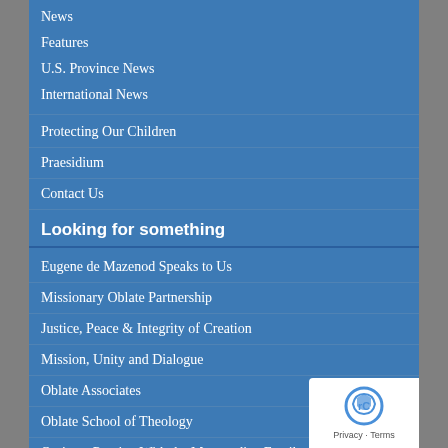News
Features
U.S. Province News
International News
Protecting Our Children
Praesidium
Contact Us
Looking for something
Eugene de Mazenod Speaks to Us
Missionary Oblate Partnership
Justice, Peace & Integrity of Creation
Mission, Unity and Dialogue
Oblate Associates
Oblate School of Theology
Oraison: Praying With the Mazenodian Family
Contribute to Our Mission